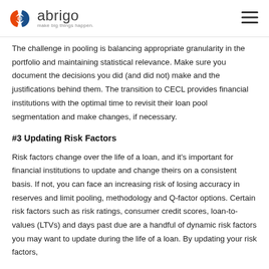abrigo — make big things happen.
The challenge in pooling is balancing appropriate granularity in the portfolio and maintaining statistical relevance. Make sure you document the decisions you did (and did not) make and the justifications behind them. The transition to CECL provides financial institutions with the optimal time to revisit their loan pool segmentation and make changes, if necessary.
#3 Updating Risk Factors
Risk factors change over the life of a loan, and it's important for financial institutions to update and change theirs on a consistent basis. If not, you can face an increasing risk of losing accuracy in reserves and limit pooling, methodology and Q-factor options. Certain risk factors such as risk ratings, consumer credit scores, loan-to-values (LTVs) and days past due are a handful of dynamic risk factors you may want to update during the life of a loan. By updating your risk factors,